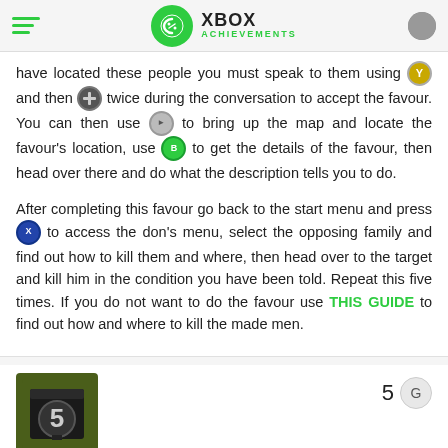XBOX ACHIEVEMENTS
have located these people you must speak to them using [Y] and then [dpad] twice during the conversation to accept the favour. You can then use [back] to bring up the map and locate the favour's location, use [RB] to get the details of the favour, then head over there and do what the description tells you to do.
After completing this favour go back to the start menu and press [B] to access the don's menu, select the opposing family and find out how to kill them and where, then head over to the target and kill him in the condition you have been told. Repeat this five times. If you do not want to do the favour use THIS GUIDE to find out how and where to kill the made men.
[Figure (illustration): Achievement icon for Lockpicker showing a number 5 on a dark safe/vault icon]
5 G
Lockpicker